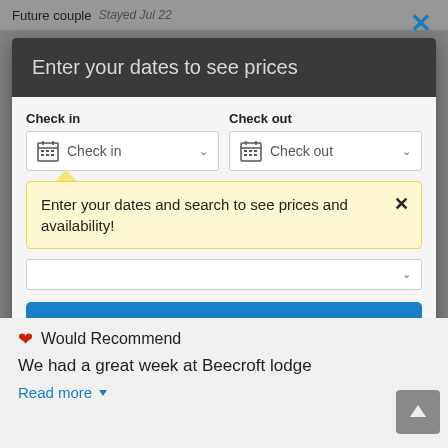[Figure (screenshot): Modal dialog overlay on a hotel/travel booking website. The modal prompts the user to enter dates to see prices, with Check in and Check out dropdown fields, a tooltip saying 'Enter your dates and search to see prices and availability!', and a 'Show Prices' button. Below the modal (in the background) is a review section with a heart icon, 'Would Recommend', review text, and a 'Read more' link.]